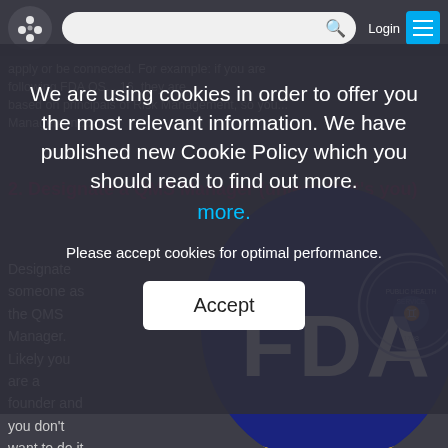apply or be connected. For example: if you are following FDA QS... 16, they are based on principals of Risk Management, so you... Management... (partial)
2. Designate a QMS Manager (unless that's you)
Designate someone as the QMS Manager. Likely you are a founder and you don't want to do it...
[Figure (screenshot): Cookie consent overlay on a website page. Dark semi-transparent overlay with white text reading: 'We are using cookies in order to offer you the most relevant information. We have published new Cookie Policy which you should read to find out more.' with a cyan 'more.' link, followed by 'Please accept cookies for optimal performance.' and a white Accept button. Behind the overlay is a navigation bar with a logo, search bar, Login text, and hamburger menu button. Below are partially visible section header '2. Designate a QMS Manager (unless that’s you)' and body text. A circular FDA logo image is visible in the lower right.]